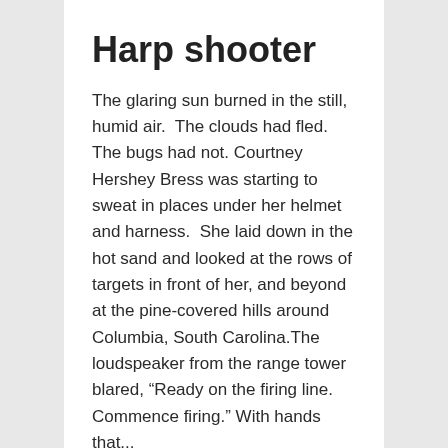Harp shooter
The glaring sun burned in the still, humid air.  The clouds had fled. The bugs had not. Courtney Hershey Bress was starting to sweat in places under her helmet and harness.  She laid down in the hot sand and looked at the rows of targets in front of her, and beyond at the pine-covered hills around Columbia, South Carolina.The loudspeaker from the range tower blared, “Ready on the firing line.  Commence firing.” With hands that...